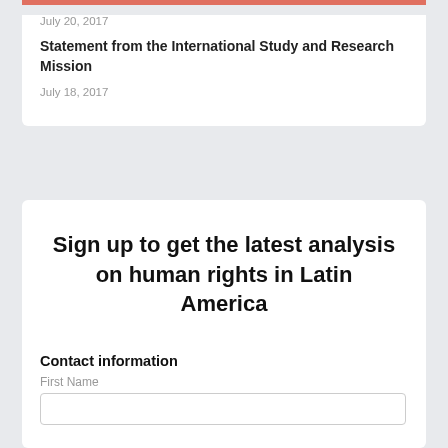July 20, 2017
Statement from the International Study and Research Mission
July 18, 2017
Sign up to get the latest analysis on human rights in Latin America
Contact information
First Name